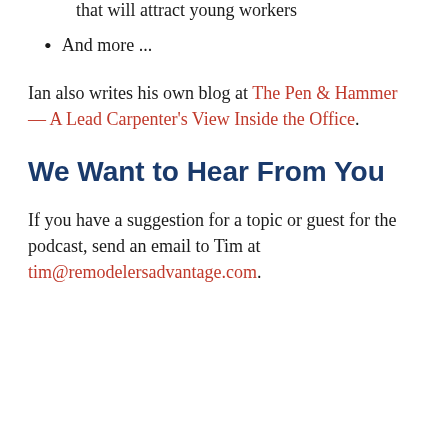that will attract young workers
And more ...
Ian also writes his own blog at The Pen & Hammer — A Lead Carpenter's View Inside the Office.
We Want to Hear From You
If you have a suggestion for a topic or guest for the podcast, send an email to Tim at tim@remodelersadvantage.com.